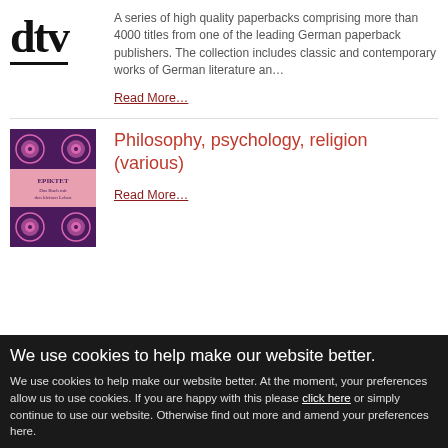[Figure (logo): dtv publisher logo — bold serif lowercase letters 'dtv' with underline]
A series of high quality paperbacks comprising more than 4000 titles from one of the leading German paperback publishers. The collection includes classic and contemporary works of German literature an…
Read More…
[Figure (photo): Book cover for Epiktet philosophy book with purple and pink floral pattern design]
Philosophy, psychology, religion (various)
Read More…
We use cookies to help make our website better.
We use cookies to help make our website better. At the moment, your preferences allow us to use cookies. If you are happy with this please click here or simply continue to use our website. Otherwise find out more and amend your preferences here.